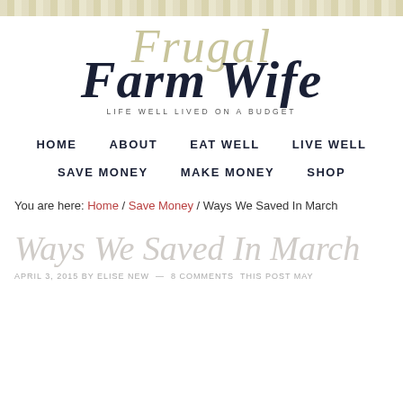[Figure (logo): Frugal Farm Wife logo with script text and tagline 'Life Well Lived On A Budget']
HOME   ABOUT   EAT WELL   LIVE WELL   SAVE MONEY   MAKE MONEY   SHOP
You are here: Home / Save Money / Ways We Saved In March
Ways We Saved In March
APRIL 3, 2015 BY ELISE NEW — 8 COMMENTS THIS POST MAY